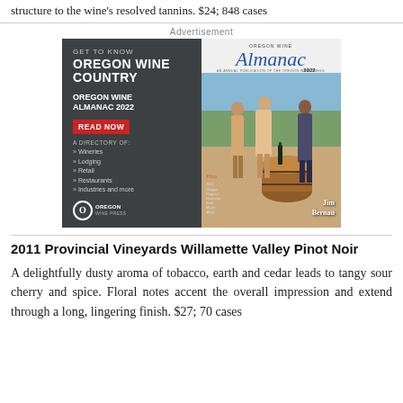structure to the wine's resolved tannins. $24; 848 cases
Advertisement
[Figure (other): Advertisement for Oregon Wine Almanac 2022. Dark gray background with white text 'GET TO KNOW OREGON WINE COUNTRY'. Left panel shows 'OREGON WINE ALMANAC 2022', 'READ NOW' in red button, directory listing of Wineries, Lodging, Retail, Restaurants, Industries and more, Oregon Wine Press logo. Right panel shows cover of Oregon Wine Almanac 2022 with magazine cover featuring three women at a wine barrel, featuring Jim Bernau.]
2011 Provincial Vineyards Willamette Valley Pinot Noir
A delightfully dusty aroma of tobacco, earth and cedar leads to tangy sour cherry and spice. Floral notes accent the overall impression and extend through a long, lingering finish. $27; 70 cases